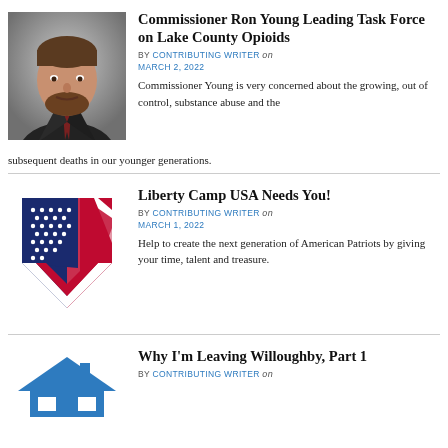[Figure (photo): Headshot of Commissioner Ron Young, a middle-aged man in a dark suit with a beard]
Commissioner Ron Young Leading Task Force on Lake County Opioids
BY CONTRIBUTING WRITER on MARCH 2, 2022
Commissioner Young is very concerned about the growing, out of control, substance abuse and the subsequent deaths in our younger generations.
[Figure (logo): Liberty Camp USA logo — stylized American flag in the shape of a shield/banner with stars and stripes]
Liberty Camp USA Needs You!
BY CONTRIBUTING WRITER on MARCH 1, 2022
Help to create the next generation of American Patriots by giving your time, talent and treasure.
[Figure (illustration): Blue house/real estate icon]
Why I'm Leaving Willoughby, Part 1
BY CONTRIBUTING WRITER on